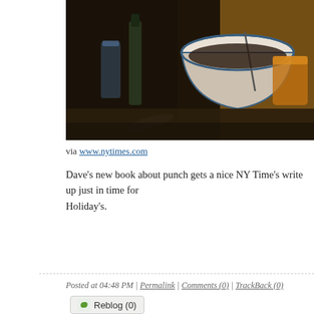[Figure (photo): Photo of a dark wood bar surface with a white and blue ceramic bowl, glasses, and warm ambient lighting]
via www.nytimes.com
Dave's new book about punch gets a nice NY Time's write up just in time for Holiday's.
Posted at 04:48 PM | Permalink | Comments (0) | TrackBack (0)
Reblog (0)
OCTOBER 12, 2010
Tiny Animation